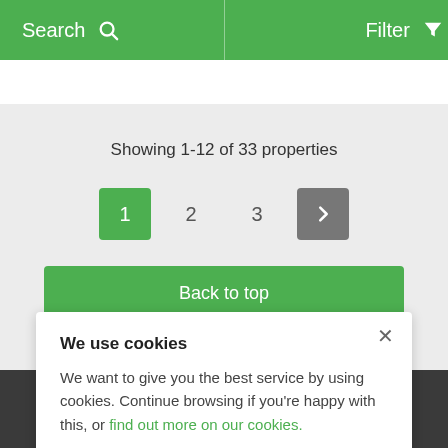Search | Filter
Showing 1-12 of 33 properties
[Figure (screenshot): Pagination controls showing page 1 (active, green), page 2, page 3, and a next arrow button (gray)]
Back to top
We use cookies
We want to give you the best service by using cookies. Continue browsing if you're happy with this, or find out more on our cookies.
List with us